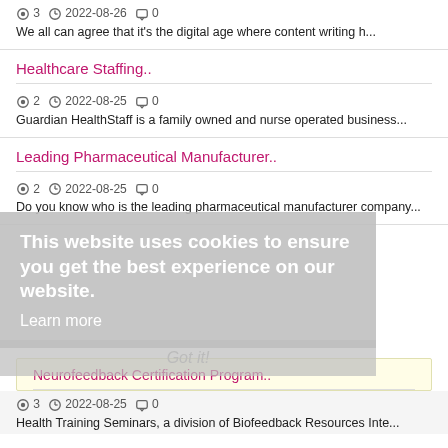3  2022-08-26  0
We all can agree that it's the digital age where content writing h...
Healthcare Staffing..
2  2022-08-25  0
Guardian HealthStaff is a family owned and nurse operated business...
Leading Pharmaceutical Manufacturer..
2  2022-08-25  0
Do you know who is the leading pharmaceutical manufacturer company...
This website uses cookies to ensure you get the best experience on our website. Learn more
Got it!
Neurofeedback Certification Program..
3  2022-08-25  0
Health Training Seminars, a division of Biofeedback Resources Inte...